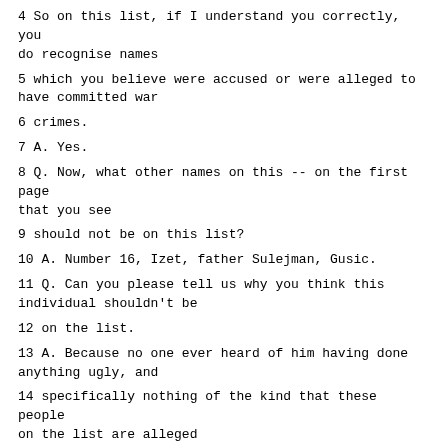4 So on this list, if I understand you correctly, you do recognise names
5 which you believe were accused or were alleged to have committed war
6 crimes.
7 A. Yes.
8 Q. Now, what other names on this -- on the first page that you see
9 should not be on this list?
10 A. Number 16, Izet, father Sulejman, Gusic.
11 Q. Can you please tell us why you think this individual shouldn't be
12 on the list.
13 A. Because no one ever heard of him having done anything ugly, and
14 specifically nothing of the kind that these people on the list are alleged
15 to have done.
16 Q. Anybody else?